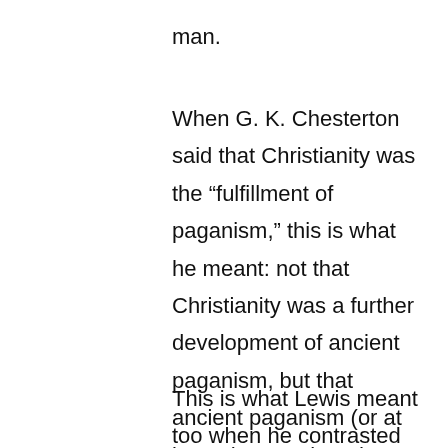man.
When G. K. Chesterton said that Christianity was the “fulfillment of paganism,” this is what he meant: not that Christianity was a further development of ancient paganism, but that ancient paganism (or at least the Greek and Roman form of it) was a stunted form of a truth that they, as men made in the image of God, knew was there but didn’t have direct access to.
This is what Lewis meant too when he contrasted paganism and modern secularism, saying that paganism was on a